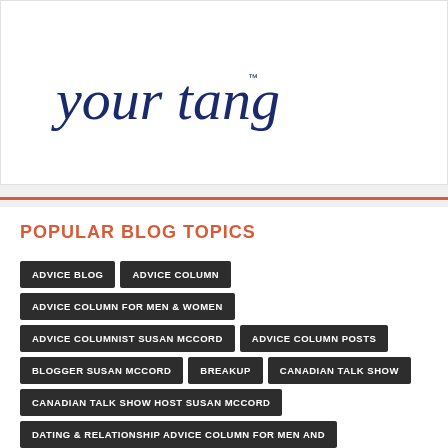[Figure (logo): YourTango cursive logo in dark navy blue]
POPULAR BLOG TOPICS
ADVICE BLOG
ADVICE COLUMN
ADVICE COLUMN FOR MEN & WOMEN
ADVICE COLUMNIST SUSAN MCCORD
ADVICE COLUMN POSTS
BLOGGER SUSAN MCCORD
BREAKUP
CANADIAN TALK SHOW
CANADIAN TALK SHOW HOST SUSAN MCCORD
DATING & RELATIONSHIP ADVICE COLUMN FOR MEN AND